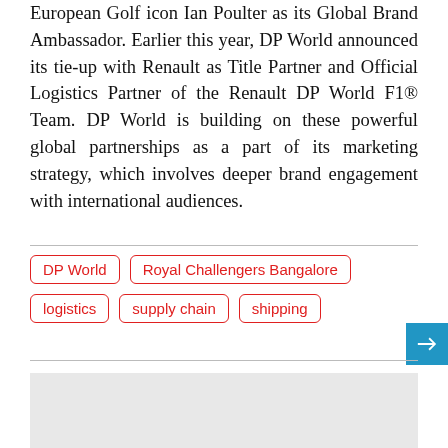European Golf icon Ian Poulter as its Global Brand Ambassador. Earlier this year, DP World announced its tie-up with Renault as Title Partner and Official Logistics Partner of the Renault DP World F1® Team. DP World is building on these powerful global partnerships as a part of its marketing strategy, which involves deeper brand engagement with international audiences.
DP World
Royal Challengers Bangalore
logistics
supply chain
shipping
[Figure (other): Gray placeholder advertisement or image box at bottom of page]